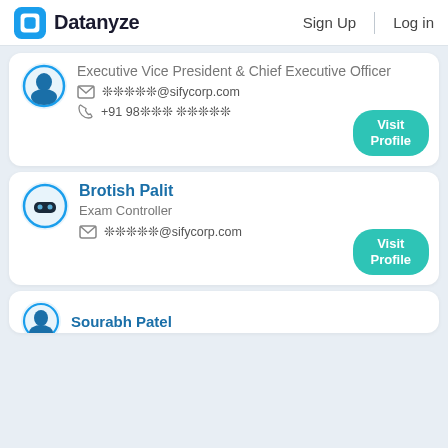Datanyze | Sign Up | Log in
Executive Vice President & Chief Executive Officer
❊❊❊❊❊@sifycorp.com
+91 98❊❊❊ ❊❊❊❊❊
Visit Profile
Brotish Palit
Exam Controller
❊❊❊❊❊@sifycorp.com
Visit Profile
Sourabh Patel